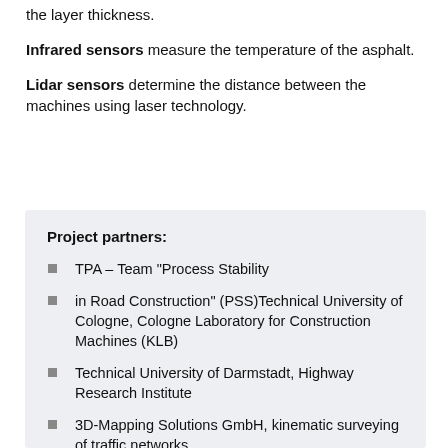the layer thickness.
Infrared sensors measure the temperature of the asphalt.
Lidar sensors determine the distance between the machines using laser technology.
Project partners:
TPA – Team “Process Stability
in Road Construction” (PSS)Technical University of Cologne, Cologne Laboratory for Construction Machines (KLB)
Technical University of Darmstadt, Highway Research Institute
3D-Mapping Solutions GmbH, kinematic surveying of traffic networks